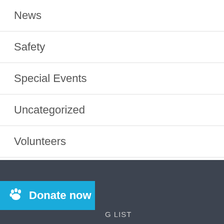News
Safety
Special Events
Uncategorized
Volunteers
Youth Programs
Donate now
G LIST